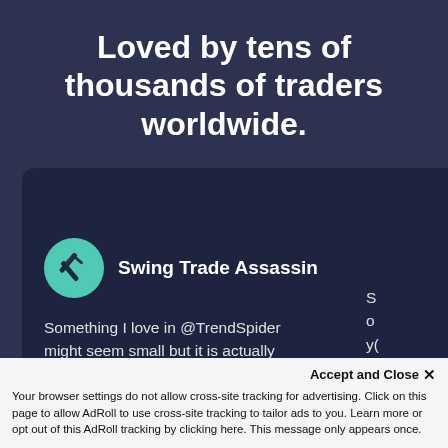Loved by tens of thousands of traders worldwide.
[Figure (screenshot): Twitter/social testimonial card showing user 'Swing Trade Assassin' with teal avatar icon and tweet text: 'Something I love in @TrendSpider might seem small but it is actually such a quality of life improvement over other charting software. This is how easy it is to create a watchlist. No']
Accept and Close ✕
Your browser settings do not allow cross-site tracking for advertising. Click on this page to allow AdRoll to use cross-site tracking to tailor ads to you. Learn more or opt out of this AdRoll tracking by clicking here. This message only appears once.